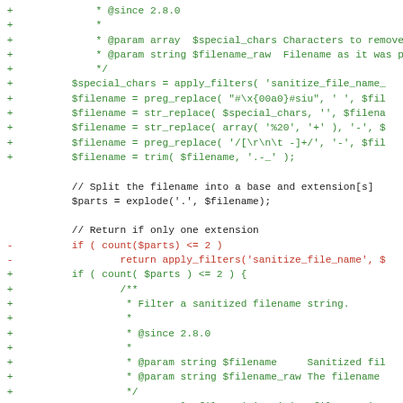[Figure (screenshot): Code diff view showing PHP filename sanitization code with added (green +) and removed (red -) lines. Shows functions like apply_filters, preg_replace, str_replace, trim, and conditional logic for filename extension processing.]